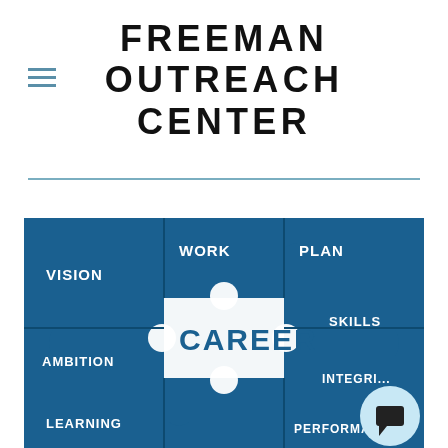FREEMAN OUTREACH CENTER
[Figure (photo): Blue jigsaw puzzle pieces with career-related words: VISION, WORK, PLAN, SKILLS, AMBITION, INTEGRITY, LEARNING, PERFORMANCE. The center white puzzle piece reads CAREER in bold blue letters.]